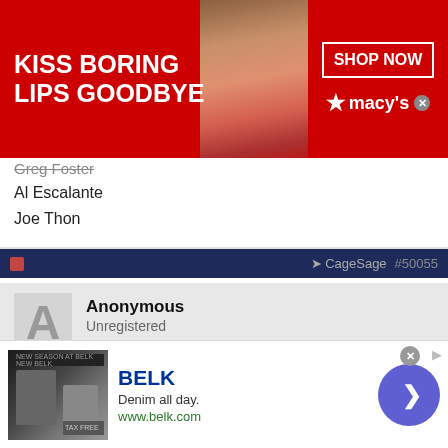[Figure (screenshot): Macy's advertisement banner: red background with 'KISS BORING LIPS GOODBYE' text, woman's face with red lipstick, SHOP NOW button and Macy's star logo]
Greg Foster
Al Escalante
Joe Thon
Anonymous
Unregistered

Great info from Brine - Thanks for advocating Sage

Is similar available for the Middle School tryout?
[Figure (screenshot): Belk advertisement: denim clothing photo, BELK brand name, 'Denim all day.' tagline, www.belk.com URL, blue circle arrow button]